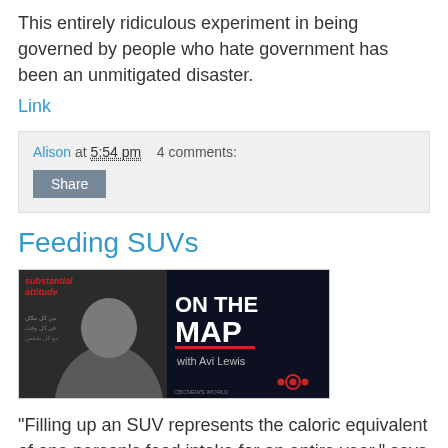This entirely ridiculous experiment in being governed by people who hate government has been an unmitigated disaster.
Link
Alison at 5:54 pm   4 comments:
Share
Feeding SUVs
[Figure (photo): CBC News World 'On The Map with Avi Lewis' banner image, showing Avi Lewis and text 'substantial attitude ON THE MAP with Avi Lewis']
"Filling up an SUV represents the caloric equivalent of one person's food intake for an entire year," says Helmut Burkhardt, Professor of Physics Emeritus at Ryerson University.